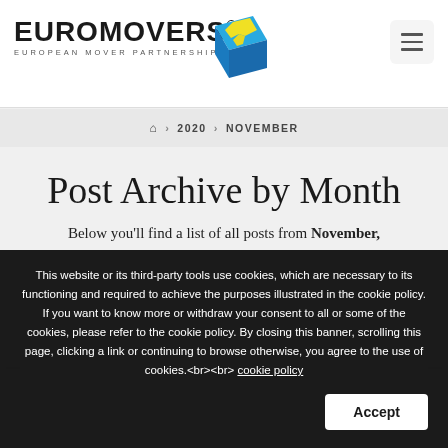[Figure (logo): Euromovers logo with 3D blue and yellow box icon, text EUROMOVERS in bold black, subtitle EUROPEAN MOVER PARTNERSHIP]
🏠 > 2020 > NOVEMBER
Post Archive by Month
Below you'll find a list of all posts from November, 2020.
This website or its third-party tools use cookies, which are necessary to its functioning and required to achieve the purposes illustrated in the cookie policy. If you want to know more or withdraw your consent to all or some of the cookies, please refer to the cookie policy. By closing this banner, scrolling this page, clicking a link or continuing to browse otherwise, you agree to the use of cookies.<br><br> cookie policy  Accept